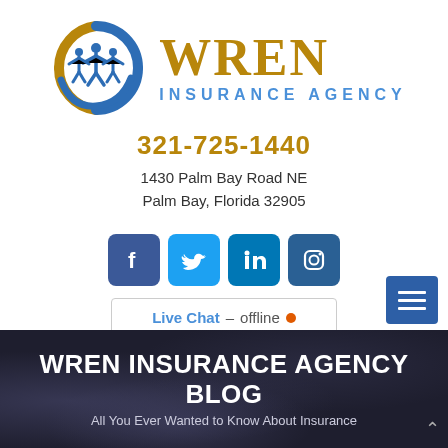[Figure (logo): Wren Insurance Agency logo with circular blue and gold swoosh design containing white figures, and text WREN INSURANCE AGENCY in gold and blue]
321-725-1440
1430 Palm Bay Road NE
Palm Bay, Florida 32905
[Figure (infographic): Social media icons: Facebook (blue), Twitter (light blue), LinkedIn (dark blue), Instagram (dark blue)]
Live Chat – offline •
WREN INSURANCE AGENCY BLOG
All You Ever Wanted to Know About Insurance